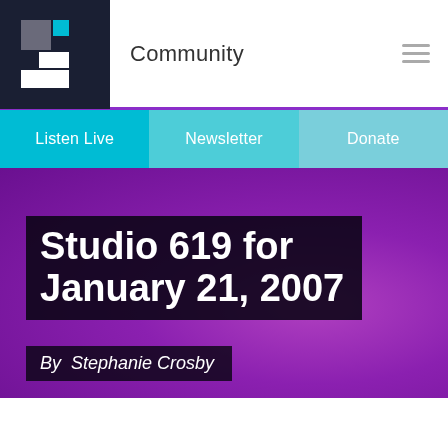Community
Listen Live  Newsletter  Donate
Studio 619 for January 21, 2007
By  Stephanie Crosby
COMMUNITY   January 21, 2007